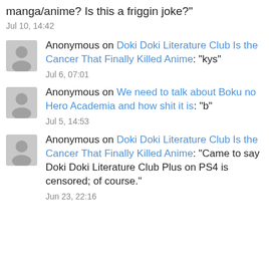manga/anime? Is this a friggin joke?"
Jul 10, 14:42
Anonymous on Doki Doki Literature Club Is the Cancer That Finally Killed Anime: “kys”
Jul 6, 07:01
Anonymous on We need to talk about Boku no Hero Academia and how shit it is: “b”
Jul 5, 14:53
Anonymous on Doki Doki Literature Club Is the Cancer That Finally Killed Anime: “Came to say Doki Doki Literature Club Plus on PS4 is censored; of course.”
Jun 23, 22:16